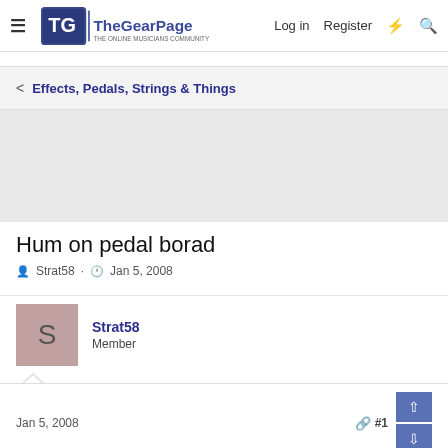The Gear Page — Log in  Register
< Effects, Pedals, Strings & Things
Hum on pedal borad
Strat58 · Jan 5, 2008
Strat58
Member
Jan 5, 2008  #1
HI when I build pedalboards back in 70 thies en 80thies I remember always disconnect the earth wire of the little guitarcable between pedals, I connect 1 earth wire in the beginning of the chain. But with